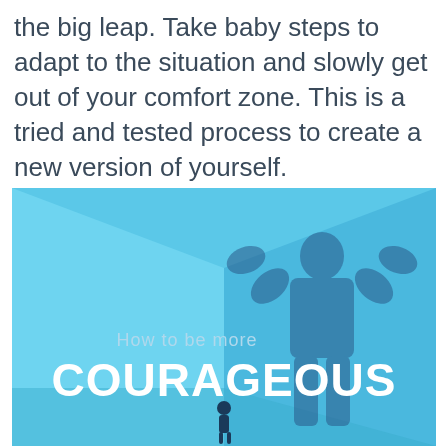the big leap. Take baby steps to adapt to the situation and slowly get out of your comfort zone. This is a tried and tested process to create a new version of yourself.
[Figure (illustration): Illustration showing a small person casting a large muscular shadow on a blue room corner background, with text 'How to be more COURAGEOUS']